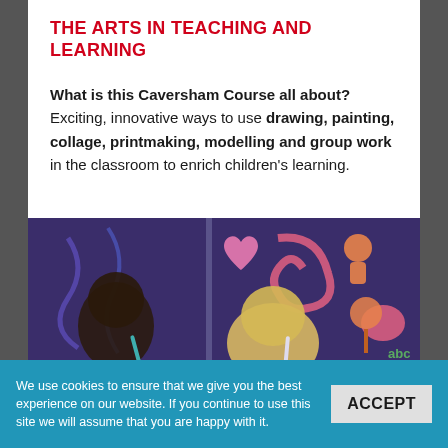THE ARTS IN TEACHING AND LEARNING
What is this Caversham Course all about? Exciting, innovative ways to use drawing, painting, collage, printmaking, modelling and group work in the classroom to enrich children's learning.
[Figure (photo): Children painting colorful designs on a window or glass surface, with bright shapes including hearts, flowers, and figures in pink, orange, purple, and green.]
We use cookies to ensure that we give you the best experience on our website. If you continue to use this site we will assume that you are happy with it.